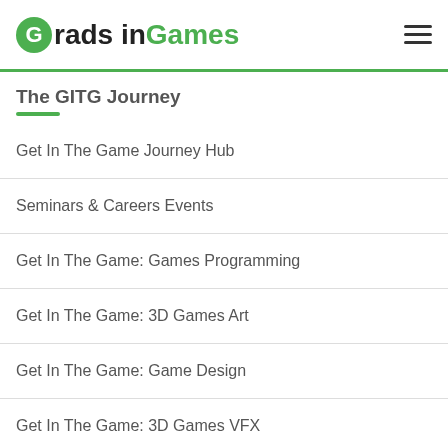Grads in Games
The GITG Journey
Get In The Game Journey Hub
Seminars & Careers Events
Get In The Game: Games Programming
Get In The Game: 3D Games Art
Get In The Game: Game Design
Get In The Game: 3D Games VFX